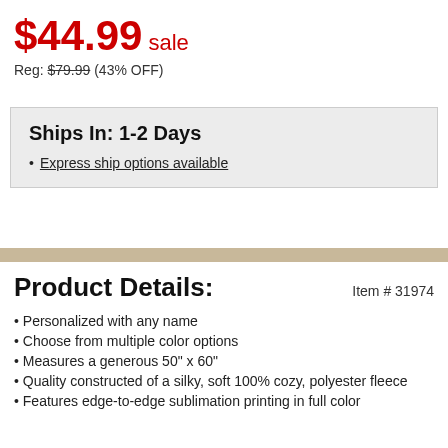$44.99 sale
Reg: $79.99 (43% OFF)
Ships In: 1-2 Days
Express ship options available
Product Details:
Item # 31974
Personalized with any name
Choose from multiple color options
Measures a generous 50" x 60"
Quality constructed of a silky, soft 100% cozy, polyester fleece
Features edge-to-edge sublimation printing in full color